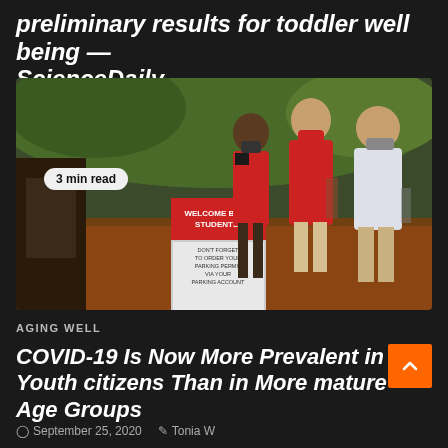preliminary results for toddler well being — ScienceDaily
September 25, 2020  Tonia W
[Figure (photo): Three college students wearing face masks walking on a campus path. A sign reads WELCOME BACK STUDENTS! DON'T FORGET TO ORDER YOUR PARKING PERMIT VIA YOUR PARKING ACCOUNT. Badge overlay reads '3 min read'.]
AGING WELL
COVID-19 Is Now More Prevalent in Youth citizens Than in More mature Age Groups
September 25, 2020  Tonia W